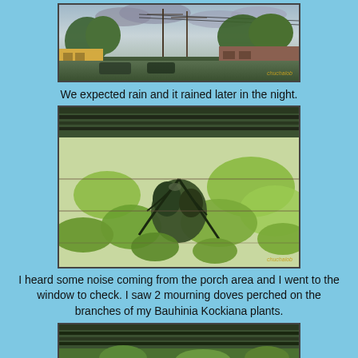[Figure (photo): Outdoor street scene with trees, utility poles, buildings, and overcast sky suggesting incoming rain]
We expected rain and it rained later in the night.
[Figure (photo): Close-up of lush green Bauhinia Kockiana plant branches with large tropical leaves, viewed from below a porch overhang; a mourning dove is perched among branches]
I heard some noise coming from the porch area and I went to the window to check. I saw 2 mourning doves perched on the branches of my Bauhinia Kockiana plants.
[Figure (photo): Partial view of porch overhang with green plants visible below, partially cropped at bottom of page]